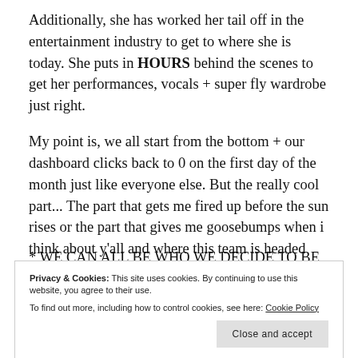Additionally, she has worked her tail off in the entertainment industry to get to where she is today. She puts in HOURS behind the scenes to get her performances, vocals + super fly wardrobe just right.
My point is, we all start from the bottom + our dashboard clicks back to 0 on the first day of the month just like everyone else. But the really cool part... The part that gets me fired up before the sun rises or the part that gives me goosebumps when i think about y'all and where this team is headed
* WE CAN ALL BE WHO WE DECIDE TO BE *
Privacy & Cookies: This site uses cookies. By continuing to use this website, you agree to their use. To find out more, including how to control cookies, see here: Cookie Policy
her organization where she has flung her hands